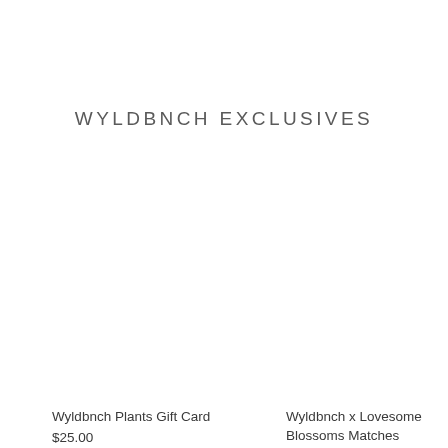WYLDBNCH EXCLUSIVES
Wyldbnch Plants Gift Card
$25.00
Wyldbnch x Lovesome Blossoms Matches